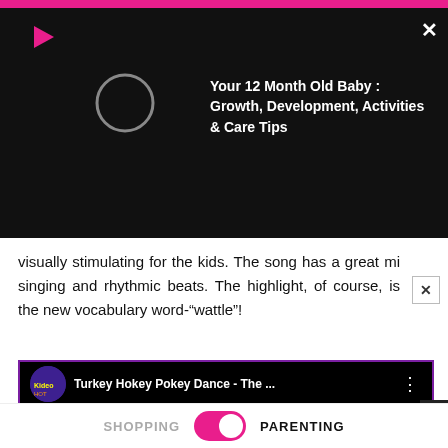[Figure (screenshot): Black popup overlay showing a YouTube video thumbnail with a loading circle and text: 'Your 12 Month Old Baby : Growth, Development, Activities & Care Tips' with a play button icon and X close button]
visually stimulating for the kids. The song has a great mi singing and rhythmic beats. The highlight, of course, is the new vocabulary word-“wattle”!
[Figure (screenshot): YouTube embedded video player showing 'Turkey Hokey Pokey Dance - The ...' with colorful cartoon turkeys and trees animation, with a play button in the center and a Dairy Queen ad overlay at the bottom]
SHOPPING   PARENTING